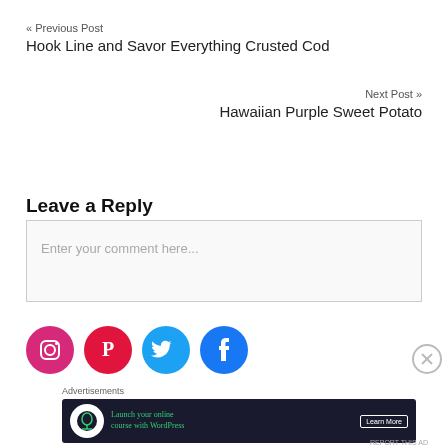« Previous Post
Hook Line and Savor Everything Crusted Cod
Next Post »
Hawaiian Purple Sweet Potato
Leave a Reply
Enter your comment here...
[Figure (infographic): Four social media icons: Instagram (pink), Pinterest (red), Twitter (light blue), Facebook (blue)]
Advertisements
[Figure (infographic): Dark ad banner: cloud/tree icon, 'Launch your online course with WordPress', 'Learn More' button]